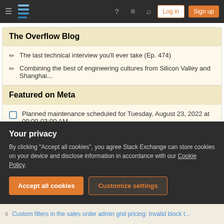Stack Exchange navigation bar with logo, help, chat, search, Log in, Sign up buttons
The Overflow Blog
The last technical interview you'll ever take (Ep. 474)
Combining the best of engineering cultures from Silicon Valley and Shanghai...
Featured on Meta
Planned maintenance scheduled for Tuesday, August 23, 2022 at 00:00-03:00 AM...
Please welcome Valued Associate #1301 – Emerson
Your privacy
By clicking "Accept all cookies", you agree Stack Exchange can store cookies on your device and disclose information in accordance with our Cookie Policy.
Accept all cookies | Customize settings
Custom filters in the sales order admin grid pricing: Invalid block t...